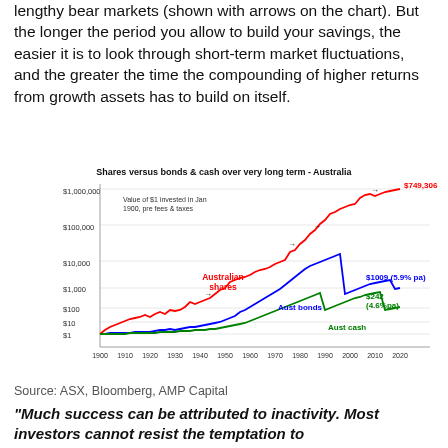lengthy bear markets (shown with arrows on the chart). But the longer the period you allow to build your savings, the easier it is to look through short-term market fluctuations, and the greater the time the compounding of higher returns from growth assets has to build on itself.
[Figure (line-chart): Log-scale line chart showing value of $1 invested in Jan 1900 pre fees & taxes in Australian shares (red, $749,306 at 11.8%pa), Aust bonds (blue, $1009 at 5.9%pa), and Aust cash (green, $242 at 4.6%pa) from 1900 to 2020.]
Source: ASX, Bloomberg, AMP Capital
"Much success can be attributed to inactivity. Most investors cannot resist the temptation to